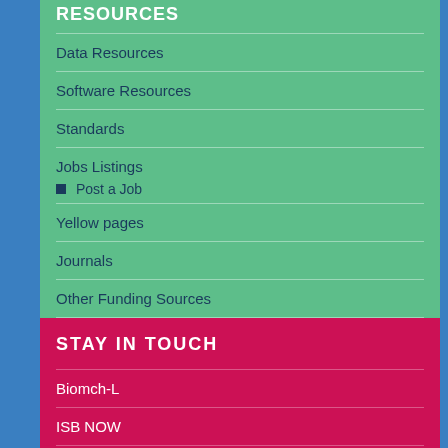RESOURCES
Data Resources
Software Resources
Standards
Jobs Listings
Post a Job
Yellow pages
Journals
Other Funding Sources
WWW Links
STAY IN TOUCH
Biomch-L
ISB NOW
Facebook Student group